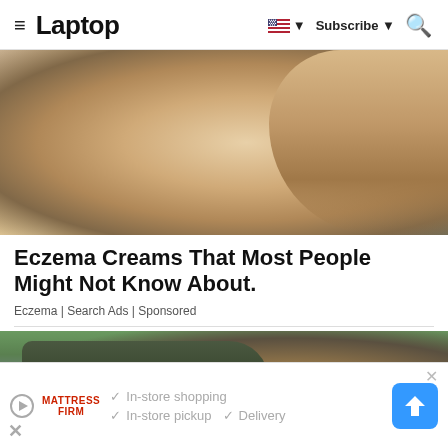≡ Laptop   🇺🇸 ▼   Subscribe ▼   🔍
[Figure (photo): Close-up photo of two fingers touching or pointing, skin texture visible against blurred background]
Eczema Creams That Most People Might Not Know About.
Eczema | Search Ads | Sponsored
[Figure (photo): Photo of a military person in camouflage gear crawling or doing an obstacle course near water with blue sky background]
✓ In-store shopping
✓ In-store pickup  ✓ Delivery